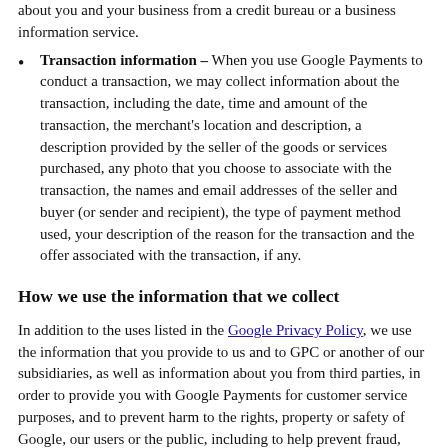Transaction information – When you use Google Payments to conduct a transaction, we may collect information about the transaction, including the date, time and amount of the transaction, the merchant's location and description, a description provided by the seller of the goods or services purchased, any photo that you choose to associate with the transaction, the names and email addresses of the seller and buyer (or sender and recipient), the type of payment method used, your description of the reason for the transaction and the offer associated with the transaction, if any.
How we use the information that we collect
In addition to the uses listed in the Google Privacy Policy, we use the information that you provide to us and to GPC or another of our subsidiaries, as well as information about you from third parties, in order to provide you with Google Payments for customer service purposes, and to prevent harm to the rights, property or safety of Google, our users or the public, including to help prevent fraud, phishing or other misconduct. Such information may also be used to assist third parties in the provision of products or services that you request from them. We also use the information to review your Google Payments Account to determine